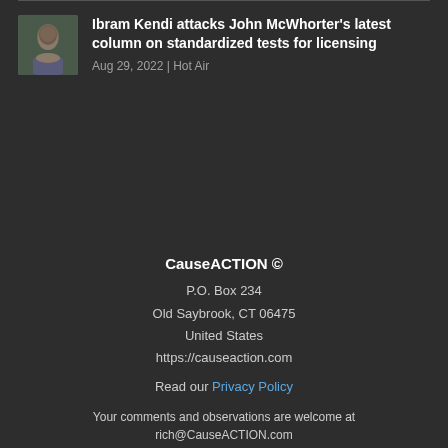[Figure (photo): Headshot of a man in a suit against a blurred outdoor background]
Ibram Kendi attacks John McWhorter’s latest column on standardized tests for licensing
Aug 29, 2022 | Hot Air
CauseACTION ©
P.O. Box 234
Old Saybrook, CT 06475
United States
https://causeaction.com
Read our Privacy Policy
Your comments and observations are welcome at rich@CauseACTION.com